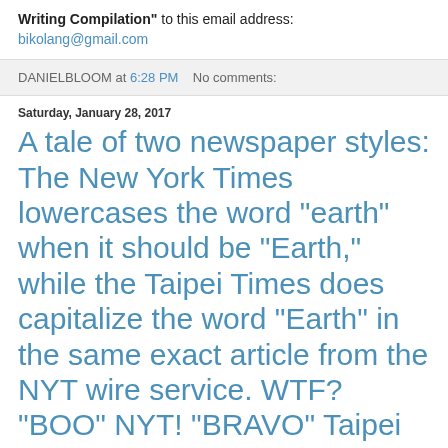Writing Compilation" to this email address:
bikolang@gmail.com
DANIELBLOOM at 6:28 PM   No comments:
Saturday, January 28, 2017
A tale of two newspaper styles: The New York Times lowercases the word "earth" when it should be "Earth," while the Taipei Times does capitalize the word "Earth" in the same exact article from the NYT wire service. WTF? "BOO" NYT! "BRAVO" Taipei Times!
A tale of two newspaper styles: The New York Times